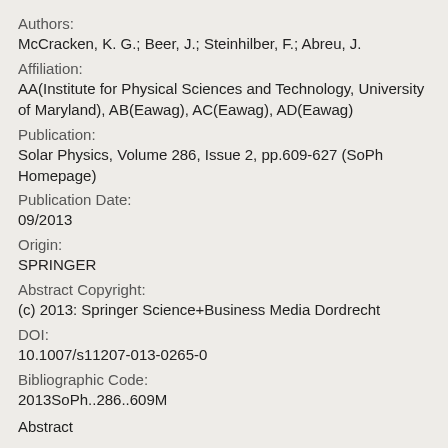Authors:
McCracken, K. G.; Beer, J.; Steinhilber, F.; Abreu, J.
Affiliation:
AA(Institute for Physical Sciences and Technology, University of Maryland), AB(Eawag), AC(Eawag), AD(Eawag)
Publication:
Solar Physics, Volume 286, Issue 2, pp.609-627 (SoPh Homepage)
Publication Date:
09/2013
Origin:
SPRINGER
Abstract Copyright:
(c) 2013: Springer Science+Business Media Dordrecht
DOI:
10.1007/s11207-013-0265-0
Bibliographic Code:
2013SoPh..286..609M
Abstract
Two 9400-year long 10Be data records from the Arctic and Antarctic and a 14C record of equal length were used to investigate the periodicities in the